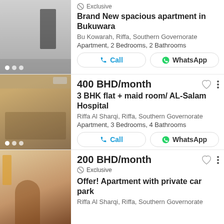[Figure (photo): Interior photo of an empty apartment room with gray floor and dark doorway]
Exclusive
Brand New spacious apartment in Bukuwara
Bu Kowarah, Riffa, Southern Governorate
Apartment, 2 Bedrooms, 2 Bathrooms
[Figure (photo): Interior photo of a furnished living room with sofas and rugs]
400 BHD/month
3 BHK flat + maid room/ AL-Salam Hospital
Riffa Al Sharqi, Riffa, Southern Governorate
Apartment, 3 Bedrooms, 4 Bathrooms
[Figure (photo): Interior photo of an apartment entrance area with arched doorways]
200 BHD/month
Exclusive
Offer! Apartment with private car park
Riffa Al Sharqi, Riffa, Southern Governorate